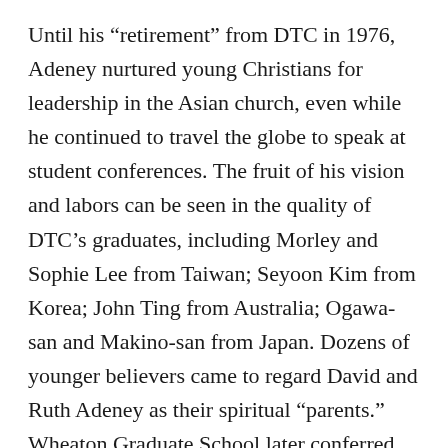Until his “retirement” from DTC in 1976, Adeney nurtured young Christians for leadership in the Asian church, even while he continued to travel the globe to speak at student conferences. The fruit of his vision and labors can be seen in the quality of DTC’s graduates, including Morley and Sophie Lee from Taiwan; Seyoon Kim from Korea; John Ting from Australia; Ogawa-san and Makino-san from Japan. Dozens of younger believers came to regard David and Ruth Adeney as their spiritual “parents.” Wheaton Graduate School later conferred upon him an honorary Doctorate of Divinity for his relentless missionary travels, teaching, new initiatives, and personal example.